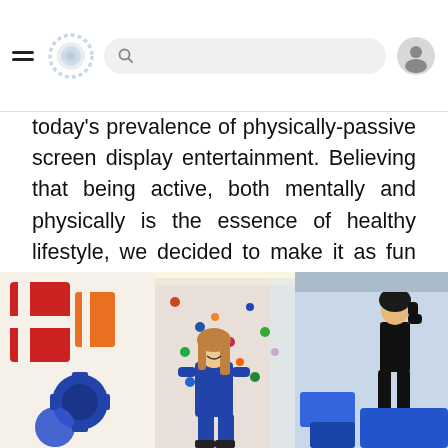[Navigation bar with hamburger menu, logo, search bar, and user icon]
today's prevalence of physically-passive screen display entertainment. Believing that being active, both mentally and physically is the essence of healthy lifestyle, we decided to make it as fun as possible. In 2012 Walltopia group – the world leader in production of climbing walls, saw an opportunity to change the current situation by creating a new revolutionary format of family entertainment – Funtopia, a fun and safe adventure park that would promote healthy activities.
[Figure (photo): Children playing in an indoor climbing adventure park (Funtopia). A girl in blue is smiling and climbing in the center; another child is visible climbing on the right. Colorful walls and play structures visible.]